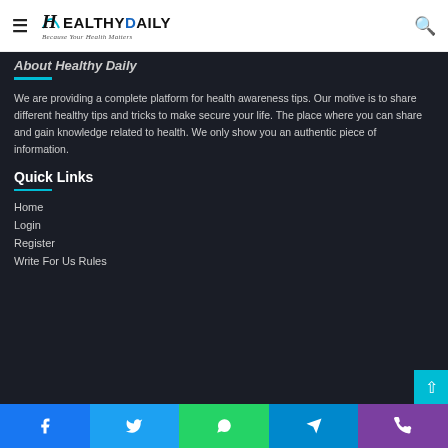Healthy Daily — Because Your Health Matters
About Healthy Daily
We are providing a complete platform for health awareness tips. Our motive is to share different healthy tips and tricks to make secure your life. The place where you can share and gain knowledge related to health. We only show you an authentic piece of information.
Quick Links
Home
Login
Register
Write For Us Rules
Facebook | Twitter | WhatsApp | Telegram | Phone